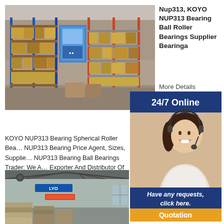[Figure (photo): Warehouse interior with metal shelving racks stocked with boxed bearings and industrial parts]
Nup313, KOYO NUP313 Bearing Ball Roller Bearings Supplier Bearinga
More Details
[Figure (infographic): 24/7 Online badge with customer service agent photo, Have any requests click here banner, and Quotation button]
KOYO NUP313 Bearing Spherical Roller Bearings NUP313 Bearing Price Agent, Sizes, Suppliers; NUP313 Bearing Ball Bearings Trader; We Are Exporter And Distributor Of KOYO NUP313 B...ry, Cost.
[Figure (photo): Large warehouse interior with LYO signage, roof trusses, and stacked bearing inventory]
Roller Bearings Supplier Bearinga